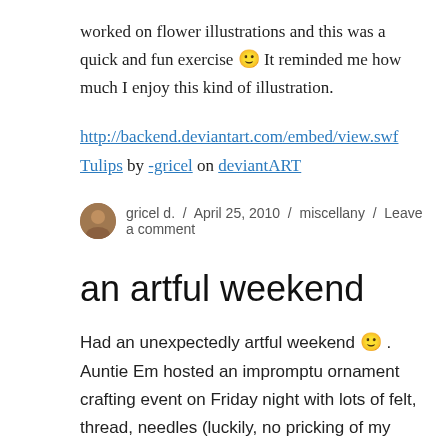worked on flower illustrations and this was a quick and fun exercise 🙂 It reminded me how much I enjoy this kind of illustration.
http://backend.deviantart.com/embed/view.swf
Tulips by -gricel on deviantART
gricel d.  /  April 25, 2010  /  miscellany  /  Leave a comment
an artful weekend
Had an unexpectedly artful weekend 🙂 . Auntie Em hosted an impromptu ornament crafting event on Friday night with lots of felt, thread, needles (luckily, no pricking of my thumbs), and glue.  I had no idea